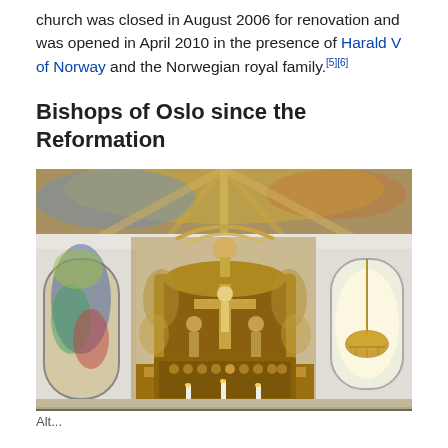church was closed in August 2006 for renovation and was opened in April 2010 in the presence of Harald V of Norway and the Norwegian royal family.[5][6]
Bishops of Oslo since the Reformation
[Figure (photo): Interior of Oslo Cathedral showing the ornate gilded altarpiece with crucifixion scene, flanked by arched windows with stained glass on the left and a bright arched window with a chandelier on the right. The ceiling features decorative painted murals.]
Alt...